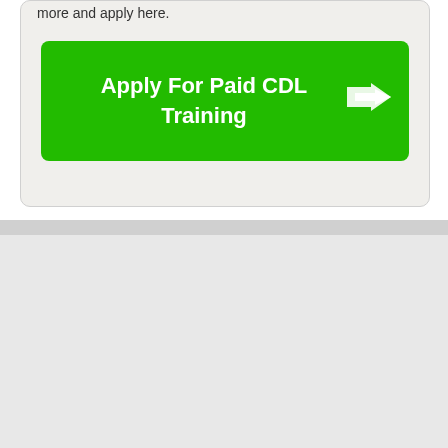more and apply here.
[Figure (other): Green button with text 'Apply For Paid CDL Training' and a share/forward arrow icon on the right]
About Us
[Figure (photo): Photo of a man with a beard and cap standing in front of a wooden wall with a framed picture behind him]